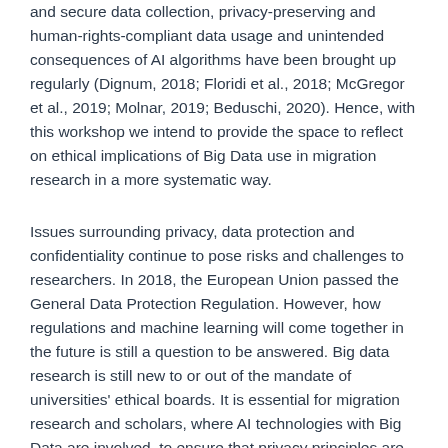and secure data collection, privacy-preserving and human-rights-compliant data usage and unintended consequences of AI algorithms have been brought up regularly (Dignum, 2018; Floridi et al., 2018; McGregor et al., 2019; Molnar, 2019; Beduschi, 2020). Hence, with this workshop we intend to provide the space to reflect on ethical implications of Big Data use in migration research in a more systematic way.
Issues surrounding privacy, data protection and confidentiality continue to pose risks and challenges to researchers. In 2018, the European Union passed the General Data Protection Regulation. However, how regulations and machine learning will come together in the future is still a question to be answered. Big data research is still new to or out of the mandate of universities' ethical boards. It is essential for migration research and scholars, where AI technologies with Big Data are involved, to ensure that privacy principles are respected, and ethical considerations are made to ensure Big Data